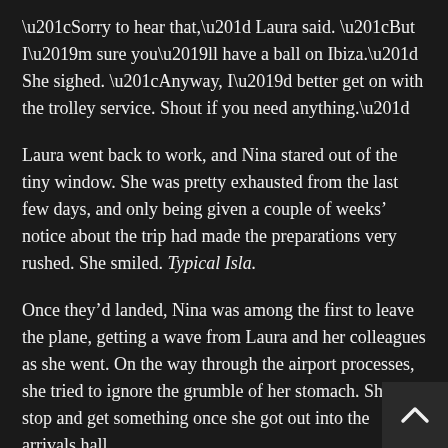“Sorry to hear that,” Laura said. “But I’m sure you’ll have a ball on Ibiza.” She sighed. “Anyway, I’d better get on with the trolley service. Shout if you need anything.”
Laura went back to work, and Nina stared out of the tiny window. She was pretty exhausted from the last few days, and only being given a couple of weeks’ notice about the trip had made the preparations very rushed. She smiled. Typical Isla.
Once they’d landed, Nina was among the first to leave the plane, getting a wave from Laura and her colleagues as she went. On the way through the airport processes, she tried to ignore the grumble of her stomach. She’d stop and get something once she got out into the arrivals hall.
Nina pulled her suitcase along and through the automatic